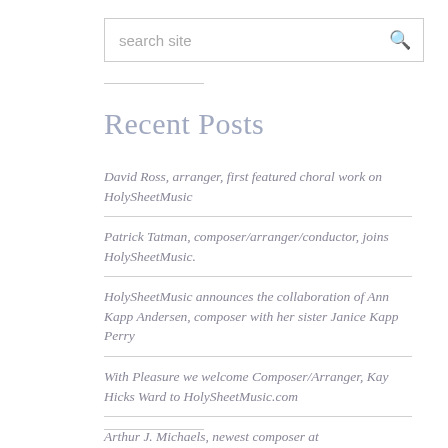search site
Recent Posts
David Ross, arranger, first featured choral work on HolySheetMusic
Patrick Tatman, composer/arranger/conductor, joins HolySheetMusic.
HolySheetMusic announces the collaboration of Ann Kapp Andersen, composer with her sister Janice Kapp Perry
With Pleasure we welcome Composer/Arranger, Kay Hicks Ward to HolySheetMusic.com
Arthur J. Michaels, newest composer at HolySheetMusic.com